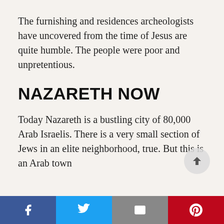The furnishing and residences archeologists have uncovered from the time of Jesus are quite humble.  The people were poor and unpretentious.
NAZARETH NOW
Today Nazareth is a bustling city of 80,000 Arab Israelis.  There is a very small section of Jews in an elite neighborhood, true.  But this is an Arab town